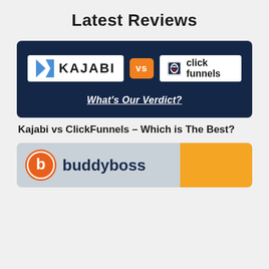Latest Reviews
[Figure (screenshot): Dark navy blue card showing Kajabi logo vs ClickFunnels logo with orange VS badge in the middle, and 'What's Our Verdict?' text in white italic underlined at the bottom]
Kajabi vs ClickFunnels – Which is The Best?
[Figure (screenshot): Gray card showing BuddyBoss logo with orange circle icon on left and orange block on right]